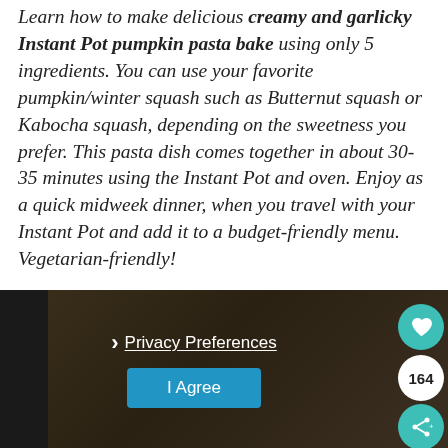Learn how to make delicious creamy and garlicky Instant Pot pumpkin pasta bake using only 5 ingredients. You can use your favorite pumpkin/winter squash such as Butternut squash or Kabocha squash, depending on the sweetness you prefer. This pasta dish comes together in about 30-35 minutes using the Instant Pot and oven. Enjoy as a quick midweek dinner, when you travel with your Instant Pot and add it to a budget-friendly menu. Vegetarian-friendly!
[Figure (screenshot): Dark background food image with a privacy preferences overlay showing a 'Privacy Preferences' link, an 'I Agree' button, a teal heart icon button, a count badge showing 164, and a teal share icon button.]